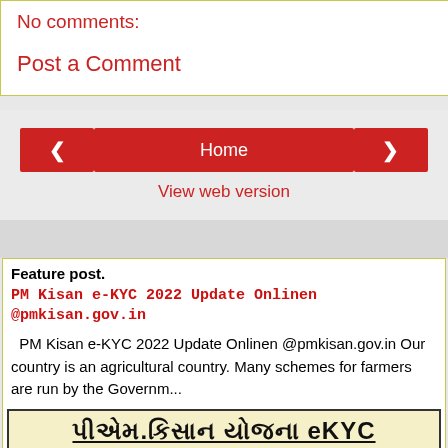No comments:
Post a Comment
Home
View web version
Feature post.
PM Kisan e-KYC 2022 Update Onlinen @pmkisan.gov.in
PM Kisan e-KYC 2022 Update Onlinen @pmkisan.gov.in Our country is an agricultural country. Many schemes for farmers are run by the Governm...
[Figure (infographic): PM Kisan Yojana eKYC infographic in Gujarati with green house graphic, Gujarati text, and tractor illustration]